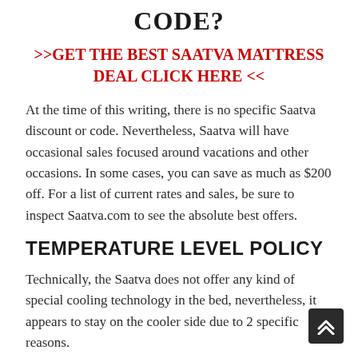CODE?
>>GET THE BEST SAATVA MATTRESS DEAL CLICK HERE <<
At the time of this writing, there is no specific Saatva discount or code. Nevertheless, Saatva will have occasional sales focused around vacations and other occasions. In some cases, you can save as much as $200 off. For a list of current rates and sales, be sure to inspect Saatva.com to see the absolute best offers.
TEMPERATURE LEVEL POLICY
Technically, the Saatva does not offer any kind of special cooling technology in the bed, nevertheless, it appears to stay on the cooler side due to 2 specific reasons.